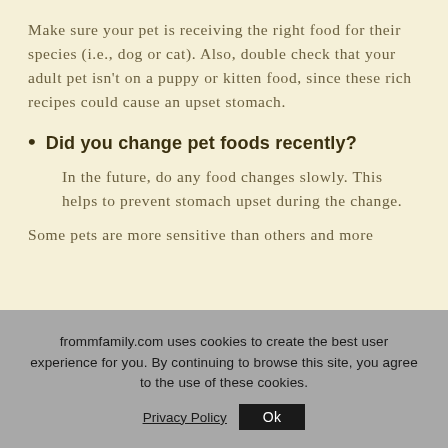Make sure your pet is receiving the right food for their species (i.e., dog or cat). Also, double check that your adult pet isn't on a puppy or kitten food, since these rich recipes could cause an upset stomach.
Did you change pet foods recently?
In the future, do any food changes slowly. This helps to prevent stomach upset during the change.
Some pets are more sensitive than others and more
frommfamily.com uses cookies to create the best user experience for you. By continuing to browse this site, you agree to the use of these cookies.
Privacy Policy  Ok